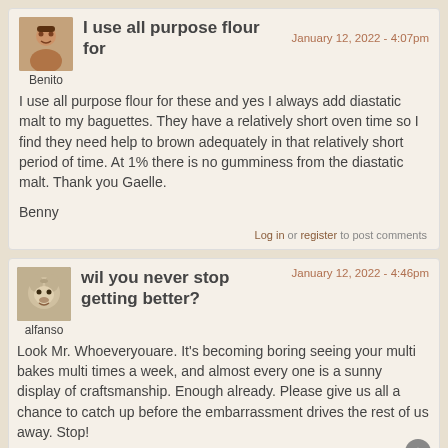[Figure (photo): Avatar image of user Benito - a person's face]
I use all purpose flour for
January 12, 2022 - 4:07pm
Benito
I use all purpose flour for these and yes I always add diastatic malt to my baguettes.  They have a relatively short oven time so I find they need help to brown adequately in that relatively short period of time.  At 1% there is no gumminess from the diastatic malt.  Thank you Gaelle.

Benny
Log in or register to post comments
[Figure (photo): Avatar image of user alfanso - appears to be a dog or animal face]
wil you never stop getting better?
January 12, 2022 - 4:46pm
alfanso
Look Mr. Whoeveryouare.  It's becoming boring seeing your multi bakes multi times a week, and almost every one is a sunny display of craftsmanship.  Enough already.  Please give us all a chance to catch up before the embarrassment drives the rest of us away. Stop!

I'll pay you in St. Pierre francs that you might be able to spend in Nova Scotia if you agree.